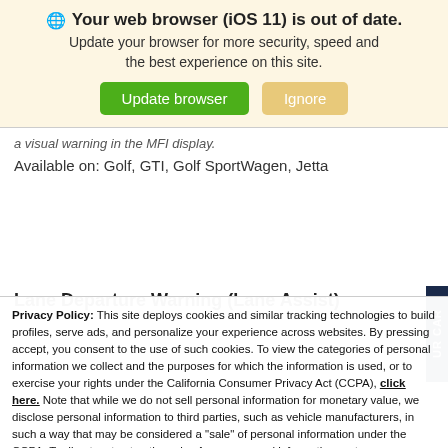Your web browser (iOS 11) is out of date.
Update your browser for more security, speed and the best experience on this site.
a visual warning in the MFI display.
Available on: Golf, GTI, Golf SportWagen, Jetta
Lane Departure Warning (Lane Assist)
Privacy Policy: This site deploys cookies and similar tracking technologies to build profiles, serve ads, and personalize your experience across websites. By pressing accept, you consent to the use of such cookies. To view the categories of personal information we collect and the purposes for which the information is used, or to exercise your rights under the California Consumer Privacy Act (CCPA), click here. Note that while we do not sell personal information for monetary value, we disclose personal information to third parties, such as vehicle manufacturers, in such a way that may be considered a "sale" of personal information under the CCPA. To direct us to stop the sale of your personal information, or to re-access these settings or disclosures at anytime, click the following icon or link:
Do Not Sell My Personal Information
Language: English
Powered by ComplyAuto
Accept and Continue →
California Privacy Disclosures